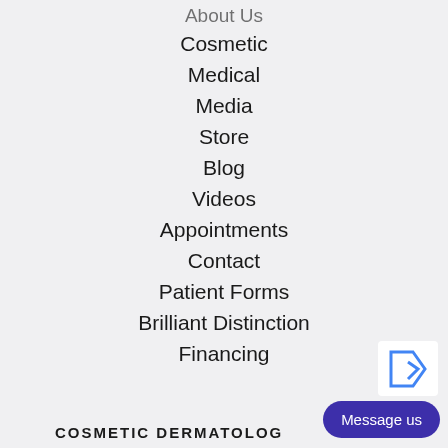About Us
Cosmetic
Medical
Media
Store
Blog
Videos
Appointments
Contact
Patient Forms
Brilliant Distinction
Financing
COSMETIC DERMATOLOGY